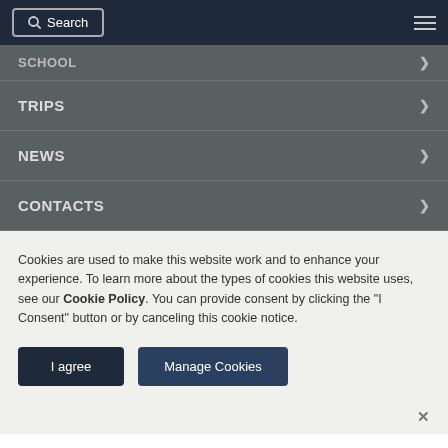Search | Navigation menu
SCHOOL >
TRIPS >
NEWS >
CONTACTS >
Cookies are used to make this website work and to enhance your experience. To learn more about the types of cookies this website uses, see our Cookie Policy. You can provide consent by clicking the "I Consent" button or by canceling this cookie notice.
I agree | Manage Cookies